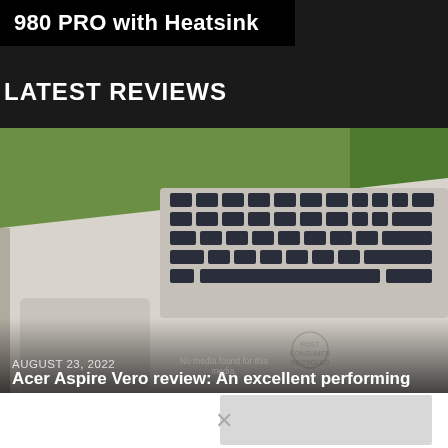980 PRO with Heatsink
LATEST REVIEWS
[Figure (photo): Close-up photo of an Acer Aspire Vero laptop showing the keyboard, trackpad, and chassis with a 'Post Consumer Recycled' logo, resting on a wooden surface with green background]
AUGUST 23, 2022
Acer Aspire Vero review: An excellent performing and great-looking PCR-built laptop